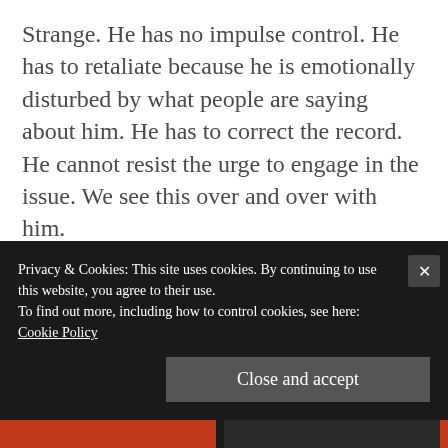Strange. He has no impulse control. He has to retaliate because he is emotionally disturbed by what people are saying about him. He has to correct the record. He cannot resist the urge to engage in the issue. We see this over and over with him.
These tweets reflect his inability to manage his emotions and impulses,
Privacy & Cookies: This site uses cookies. By continuing to use this website, you agree to their use.
To find out more, including how to control cookies, see here: Cookie Policy
Close and accept